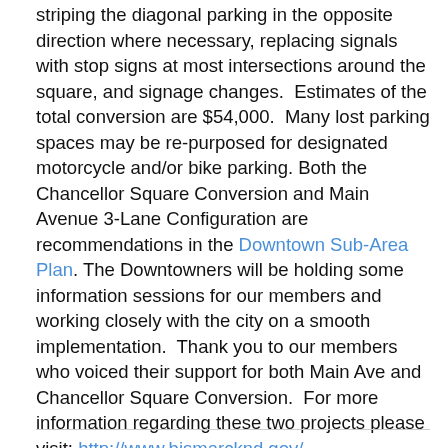striping the diagonal parking in the opposite direction where necessary, replacing signals with stop signs at most intersections around the square, and signage changes.  Estimates of the total conversion are $54,000.  Many lost parking spaces may be re-purposed for designated motorcycle and/or bike parking. Both the Chancellor Square Conversion and Main Avenue 3-Lane Configuration are recommendations in the Downtown Sub-Area Plan. The Downtowners will be holding some information sessions for our members and working closely with the city on a smooth implementation.  Thank you to our members who voiced their support for both Main Ave and Chancellor Square Conversion.  For more information regarding these two projects please visit: http://www.bismarcknd.gov/.